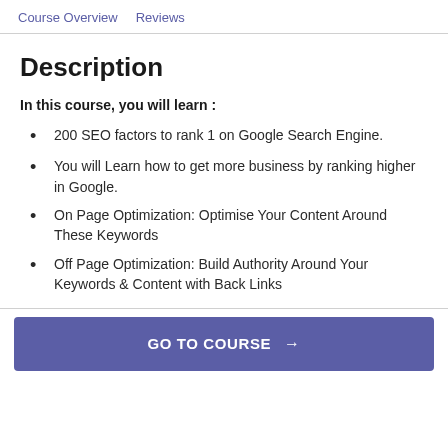Course Overview   Reviews
Description
In this course, you will learn :
200 SEO factors to rank 1 on Google Search Engine.
You will Learn how to get more business by ranking higher in Google.
On Page Optimization: Optimise Your Content Around These Keywords
Off Page Optimization: Build Authority Around Your Keywords & Content with Back Links
GO TO COURSE →